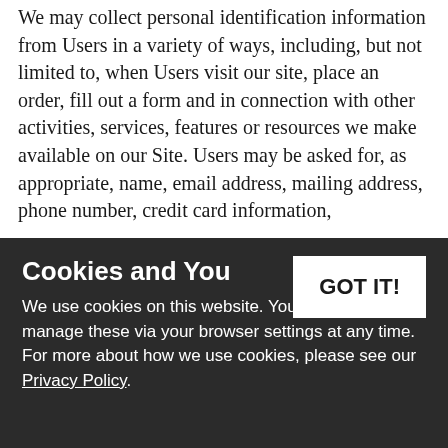We may collect personal identification information from Users in a variety of ways, including, but not limited to, when Users visit our site, place an order, fill out a form and in connection with other activities, services, features or resources we make available on our Site. Users may be asked for, as appropriate, name, email address, mailing address, phone number, credit card information,
Users may, however, visit our Site anonymously.
We will collect personal identification information from Users only if they voluntarily submit such information to us. Users can always refuse to supply personal identification information, except that it may prevent them from engaging in
Non-personal identification information
Cookies and You
We use cookies on this website. You are free to manage these via your browser settings at any time. For more about how we use cookies, please see our Privacy Policy.